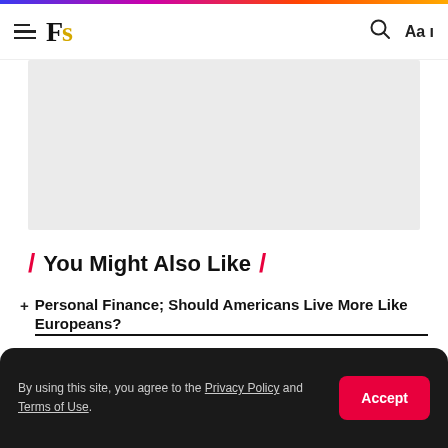Fs — navigation header with hamburger menu, logo, search and font size controls
[Figure (other): Gray advertisement placeholder box]
/ You Might Also Like /
+ Personal Finance; Should Americans Live More Like Europeans?
+ Discover The 7 Popular Apps for Saving Money in Nigeria
+ How Much Should You Save From Each Paycheck
+ Discover Ways How to Save Money Fast on a Low Income
By using this site, you agree to the Privacy Policy and Terms of Use.